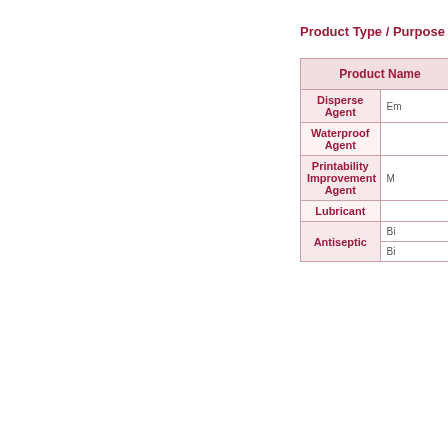Product Type / Purpose / Mer...
| Product Name |
| --- |
| Disperse Agent | Em... |
| Waterproof Agent |  |
| Printability Improvement Agent | M... |
| Lubricant |  |
| Antiseptic | Bi... |
| Antiseptic | Bi... |